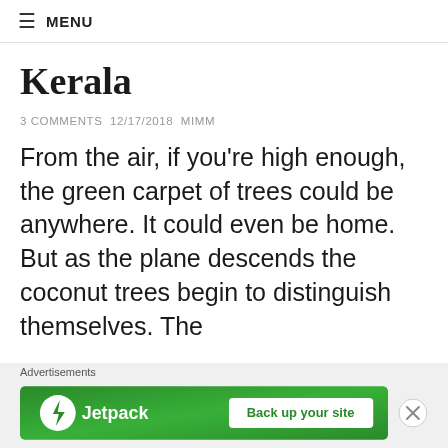≡ MENU
Kerala
3 COMMENTS 12/17/2018 MIMM
From the air, if you're high enough, the green carpet of trees could be anywhere. It could even be home. But as the plane descends the coconut trees begin to distinguish themselves. The
[Figure (infographic): Jetpack advertisement banner with green background, Jetpack logo and 'Back up your site' button. Close (X) button on the right.]